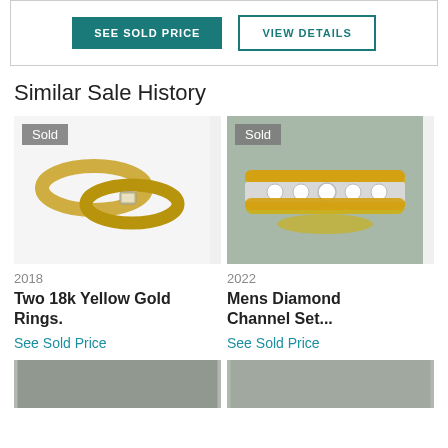[Figure (screenshot): Two buttons: 'SEE SOLD PRICE' (teal filled) and 'VIEW DETAILS' (teal outline)]
Similar Sale History
[Figure (photo): Photo of two 18k yellow gold rings on white background, with 'Sold' badge]
2018
Two 18k Yellow Gold Rings.
See Sold Price
[Figure (photo): Photo of Mens Diamond Channel Set ring on grey background, with 'Sold' badge]
2022
Mens Diamond Channel Set...
See Sold Price
[Figure (photo): Partial photo at bottom left, partially visible]
[Figure (photo): Partial photo at bottom right, partially visible]